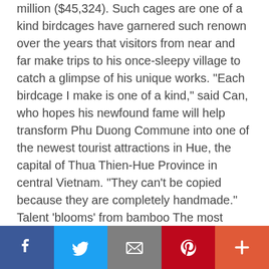million ($$45,324). Such cages are one of a kind birdcages have garnered such renown over the years that visitors from near and far make trips to his once-sleepy village to catch a glimpse of his unique works. "Each birdcage I make is one of a kind," said Can, who hopes his newfound fame will help transform Phu Duong Commune into one of the newest tourist attractions in Hue, the capital of Thua Thien-Hue Province in central Vietnam. "They can't be copied because they are completely handmade." Talent 'blooms' from bamboo The most ornate style of birdcage Can produces is called Thap Bat La Han (Eighteen Arhats) – a name which pays homage to those Buddhists who
[Figure (infographic): Social sharing bar with Facebook, Twitter, Email, Pinterest, and More (+) buttons]